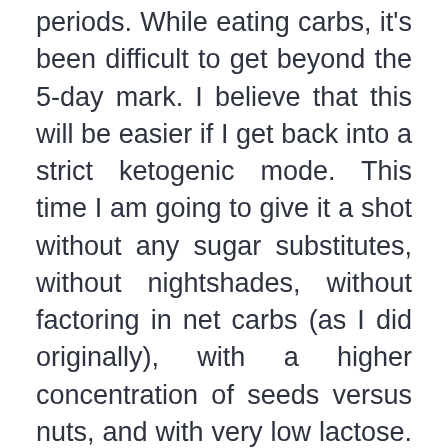periods. While eating carbs, it's been difficult to get beyond the 5-day mark. I believe that this will be easier if I get back into a strict ketogenic mode. This time I am going to give it a shot without any sugar substitutes, without nightshades, without factoring in net carbs (as I did originally), with a higher concentration of seeds versus nuts, and with very low lactose. The only lactose that I am going to consume will be trace amounts from butter, parmesan, cheddar, and potentially kefir. I got off of the Bulletproof Coffee kick and back into heavy cream. Because I am cutting out heavy cream, I want to experiment a bit with fatty coffee as it